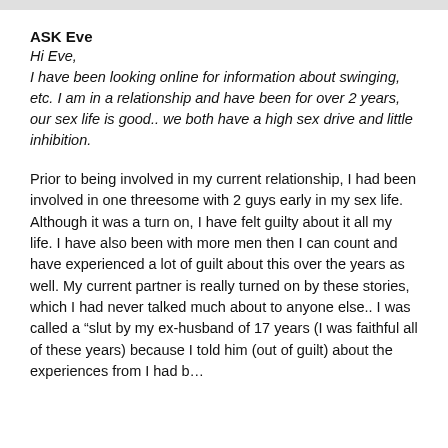ASK Eve
Hi Eve,
I have been looking online for information about swinging, etc. I am in a relationship and have been for over 2 years, our sex life is good.. we both have a high sex drive and little inhibition.
Prior to being involved in my current relationship, I had been involved in one threesome with 2 guys early in my sex life. Although it was a turn on, I have felt guilty about it all my life. I have also been with more men then I can count and have experienced a lot of guilt about this over the years as well. My current partner is really turned on by these stories, which I had never talked much about to anyone else.. I was called a “slut by my ex-husband of 17 years (I was faithful all of these years) because I told him (out of guilt) about the experiences from...